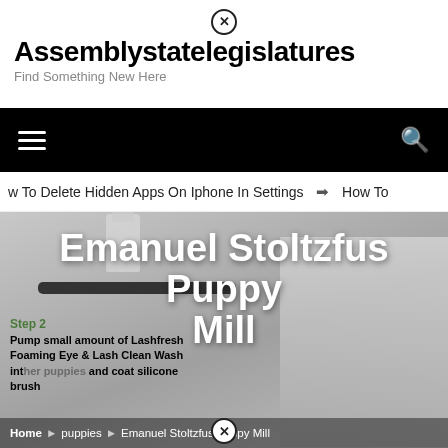Assemblystatelegislatures — Find Something New Here
Navigation bar with hamburger menu and search icon
w To Delete Hidden Apps On Iphone In Settings  ➔  How To
[Figure (photo): Hero image showing skincare/beauty products including a foaming eye wash bottle and makeup brushes/applicators on a gray background, with white text overlay reading 'Emanuel Stoltzfus Puppy Mill']
Emanuel Stoltzfus Puppy Mill
Pump small amount of Lashfresh Foaming Eye & Lash Clean Wash int her puppies and coat silicone brush
Home > puppies > Emanuel Stoltzfus Puppy Mill